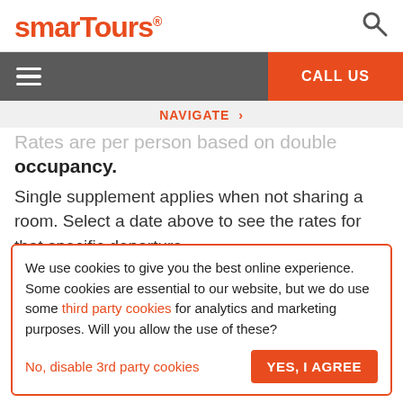smarTours®
Rates are per person based on double occupancy. Single supplement applies when not sharing a room. Select a date above to see the rates for that specific departure.
We use cookies to give you the best online experience. Some cookies are essential to our website, but we do use some third party cookies for analytics and marketing purposes. Will you allow the use of these?
No, disable 3rd party cookies | YES, I AGREE